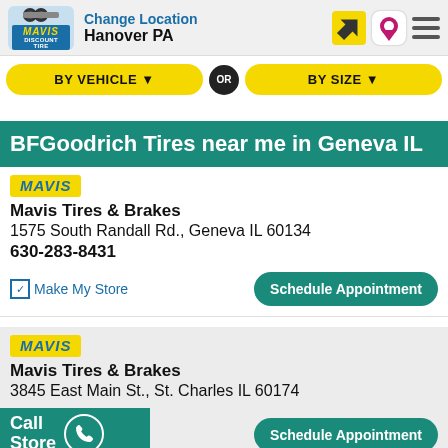Change Location Hanover PA
BY VEHICLE OR BY SIZE
BFGoodrich Tires near me in Geneva IL
[Figure (logo): Mavis Discount Tire logo badge]
Mavis Tires & Brakes
1575 South Randall Rd., Geneva IL 60134
630-283-8431
Make My Store
Schedule Appointment
[Figure (logo): Mavis Discount Tire logo badge]
Mavis Tires & Brakes
3845 East Main St., St. Charles IL 60174
Call Store
Schedule Appointment